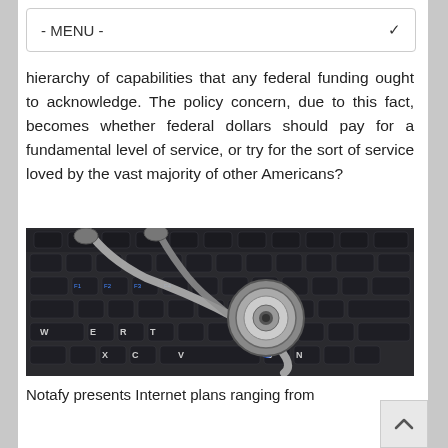- MENU -
hierarchy of capabilities that any federal funding ought to acknowledge. The policy concern, due to this fact, becomes whether federal dollars should pay for a fundamental level of service, or try for the sort of service loved by the vast majority of other Americans?
[Figure (photo): A stethoscope resting on a laptop keyboard, symbolizing telemedicine or internet-based health services.]
Notafy presents Internet plans ranging from